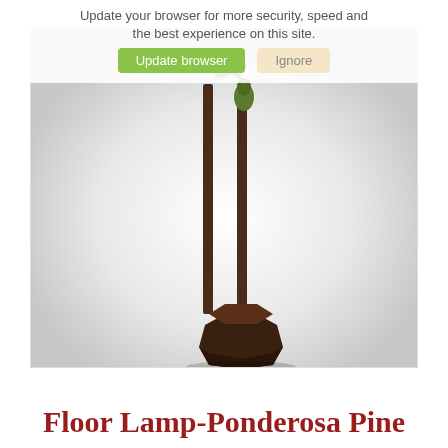Update your browser for more security, speed and the best experience on this site.
[Figure (screenshot): Browser update notification banner with 'Update browser' (green button) and 'Ignore' (beige button) options overlaid on a product image of a floor lamp with a dark brown metal base and pine cone/leaf decorative element at the top.]
Floor Lamp-Ponderosa Pine